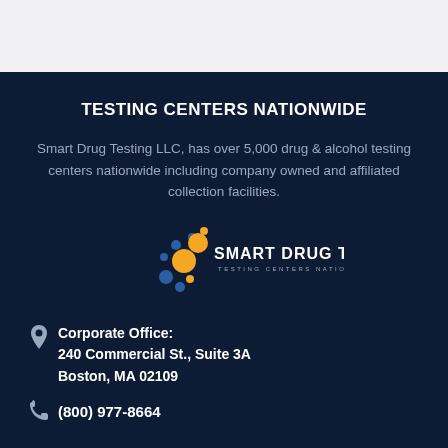TESTING CENTERS NATIONWIDE
Smart Drug Testing LLC, has over 5,000 drug & alcohol testing centers nationwide including company owned and affiliated collection facilities.
[Figure (logo): Smart Drug Testing logo with circular arrangement of blue and yellow dots beside text 'SMART DRUG TESTING' and subtitle 'TESTING CENTERS NATIONWIDE']
Corporate Office: 240 Commercial St., Suite 3A Boston, MA 02109
(800) 977-8664